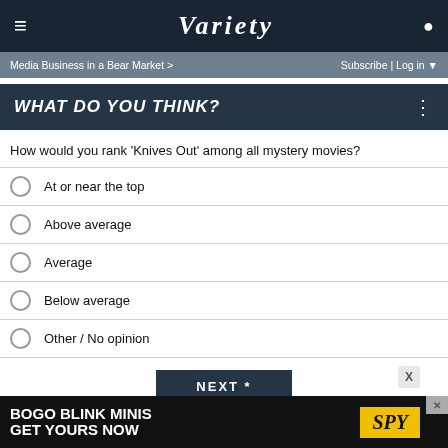≡  VARIETY  👤
Media Business in a Bear Market >  Subscribe | Log in ▼
WHAT DO YOU THINK?
How would you rank 'Knives Out' among all mystery movies?
At or near the top
Above average
Average
Below average
Other / No opinion
NEXT *
* By clicking "NEXT" you agree to the following: We use cookies to track your survey answers. If you would like to continue with this
[Figure (infographic): BOGO BLINK MINIS GET YOURS NOW - SPY advertisement banner]